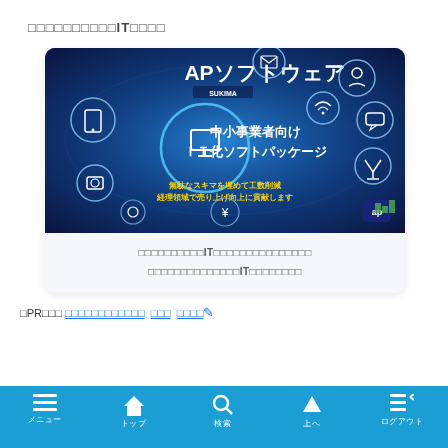□□□□□□□□□□IT□□□□
[Figure (infographic): AP Software promotional card for SMB IT digitalization package (SUKIMA), showing icons for devices, wifi, and services on a blue digital world map background with Japanese text for IT software package for small business]
□□□□□□□□□□IT□□□□□□□□□□□□□□□
□□□□□□□□□□□□□□IT□□□□□□□□
□PR□□□ □□□□□□□□□□□□ □□□ □□□□ ✎
メニュー　トップ　検索　上へ　ログアウト